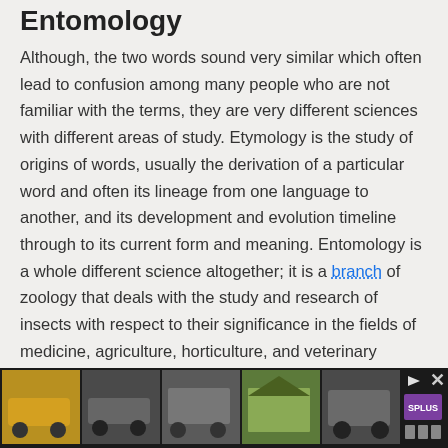Entomology
Although, the two words sound very similar which often lead to confusion among many people who are not familiar with the terms, they are very different sciences with different areas of study. Etymology is the study of origins of words, usually the derivation of a particular word and often its lineage from one language to another, and its development and evolution timeline through to its current form and meaning. Entomology is a whole different science altogether; it is a branch of zoology that deals with the study and research of insects with respect to their significance in the fields of medicine, agriculture, horticulture, and veterinary
[Figure (other): Advertisement banner at the bottom showing car images and a purple logo with close controls]